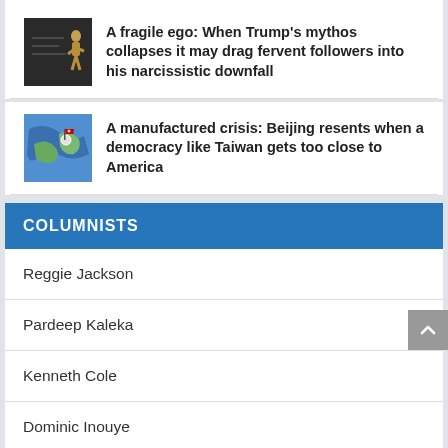[Figure (photo): Dark chalkboard image with a figure silhouette]
A fragile ego: When Trump’s mythos collapses it may drag fervent followers into his narcissistic downfall
[Figure (photo): Map image showing Taiwan region with flag]
A manufactured crisis: Beijing resents when a democracy like Taiwan gets too close to America
COLUMNISTS
Reggie Jackson
Pardeep Kaleka
Kenneth Cole
Dominic Inouye